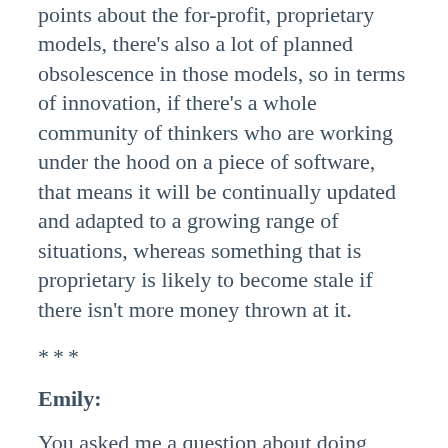points about the for-profit, proprietary models, there's also a lot of planned obsolescence in those models, so in terms of innovation, if there's a whole community of thinkers who are working under the hood on a piece of software, that means it will be continually updated and adapted to a growing range of situations, whereas something that is proprietary is likely to become stale if there isn't more money thrown at it.
***
Emily:
You asked me a question about doing programming specifically with the digital environment in mind vs.